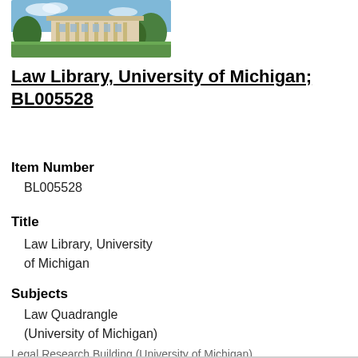[Figure (photo): Thumbnail photograph of the Law Library building at University of Michigan, showing a Gothic-style building with columns, surrounded by trees and green lawn.]
Law Library, University of Michigan; BL005528
Item Number
BL005528
Title
Law Library, University of Michigan
Subjects
Law Quadrangle (University of Michigan)
Legal Research Building (University of Michigan)